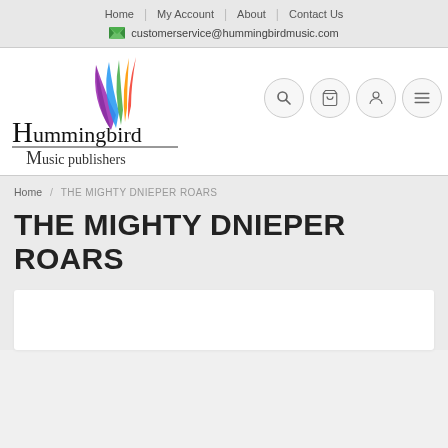Home | My Account | About | Contact Us | customerservice@hummingbirdmusic.com
[Figure (logo): Hummingbird Music Publishers logo with colorful bird feather graphic above the text]
Home / THE MIGHTY DNIEPER ROARS
THE MIGHTY DNIEPER ROARS